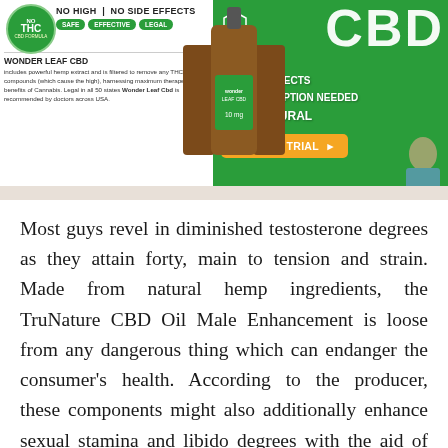[Figure (infographic): Wonder Leaf CBD advertisement banner. Left white section: NO THC circle badge, 'NO HIGH | NO SIDE EFFECTS' header, SAFE EFFECTIVE LEGAL green pill badges, Wonder Leaf CBD product description text. Center: CBD oil bottle product images. Right green section: CBD logo text, NO SIDE EFFECTS, NO PRESCRIPTION NEEDED, 100% NATURAL, orange RUSH MY TRIAL button. Bottom strip with partial face images.]
Most guys revel in diminished testosterone degrees as they attain forty, main to tension and strain. Made from natural hemp ingredients, the TruNature CBD Oil Male Enhancement is loose from any dangerous thing which can endanger the consumer’s health. According to the producer, these components might also additionally enhance sexual stamina and libido degrees with the aid of using lowering strain and uplifting the customers’ moods.